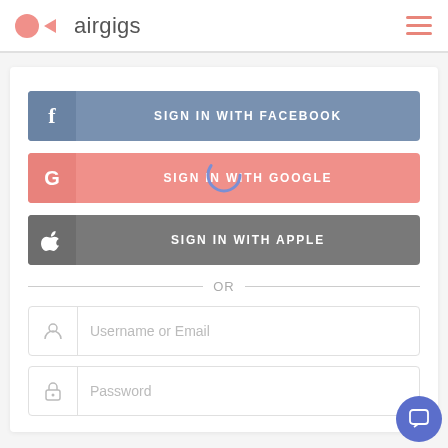[Figure (logo): Airgigs logo with pink circle and play button icon, followed by 'airgigs' text in gray]
[Figure (illustration): Hamburger menu icon with three horizontal pink lines]
[Figure (screenshot): Sign in form with Facebook, Google, Apple buttons, and username/password fields]
SIGN IN WITH FACEBOOK
SIGN IN WITH GOOGLE
SIGN IN WITH APPLE
OR
Username or Email
Password